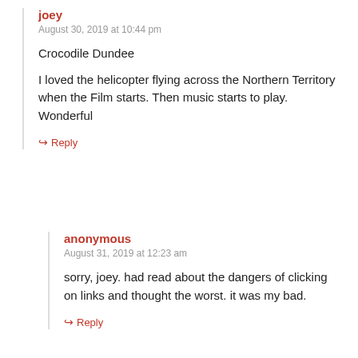joey
August 30, 2019 at 10:44 pm
Crocodile Dundee
I loved the helicopter flying across the Northern Territory when the Film starts. Then music starts to play. Wonderful
Reply
anonymous
August 31, 2019 at 12:23 am
sorry, joey. had read about the dangers of clicking on links and thought the worst. it was my bad.
Reply